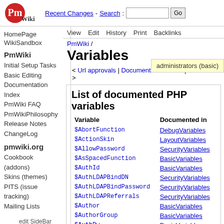Recent Changes - Search: [input] Go
PmWiki logo
HomePage
WikiSandbox
PmWiki
Initial Setup Tasks
Basic Editing
Documentation Index
PmWiki FAQ
PmWikiPhilosophy
Release Notes
ChangeLog
pmwiki.org
Cookbook (addons)
Skins (themes)
PITS (issue tracking)
Mailing Lists
edit SideBar
View  Edit  History  Print  Backlinks
PmWiki / Variables
Variables
< Url approvals | Documentation Index | Functions >
administrators (basic)
List of documented PHP variables
| Variable | Documented in |
| --- | --- |
| $AbortFunction | DebugVariables |
| $ActionSkin | LayoutVariables |
| $AllowPassword | SecurityVariables |
| $AsSpacedFunction | BasicVariables |
| $AuthId | BasicVariables |
| $AuthLDAPBindDN | SecurityVariables |
| $AuthLDAPBindPassword | SecurityVariables |
| $AuthLDAPReferrals | SecurityVariables |
| $Author | BasicVariables |
| $AuthorGroup | BasicVariables |
| $AuthPw | BasicVariables |